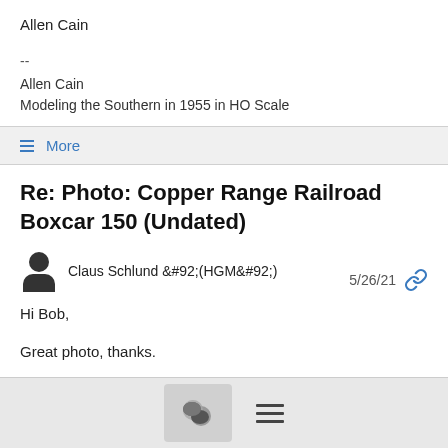Allen Cain
--
Allen Cain
Modeling the Southern in 1955 in HO Scale
≡ More
Re: Photo: Copper Range Railroad Boxcar 150 (Undated)
Claus Schlund &#92;(HGM&#92;)   5/26/21
Hi Bob,

Great photo, thanks.